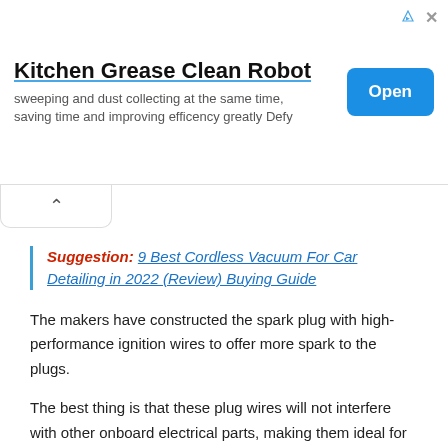[Figure (other): Advertisement banner for Kitchen Grease Clean Robot with Open button]
Suggestion: 9 Best Cordless Vacuum For Car Detailing in 2022 (Review) Buying Guide
The makers have constructed the spark plug with high-performance ignition wires to offer more spark to the plugs.
The best thing is that these plug wires will not interfere with other onboard electrical parts, making them ideal for your Chevy 350 engine.
Lastly, this product offers powerful performance with